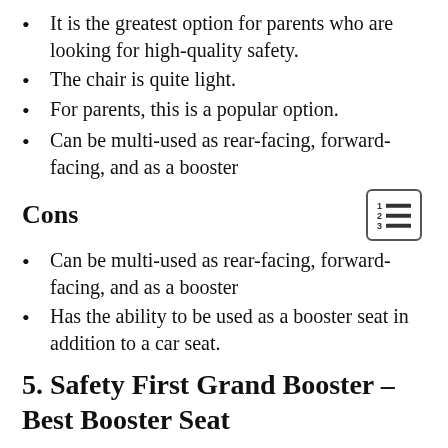It is the greatest option for parents who are looking for high-quality safety.
The chair is quite light.
For parents, this is a popular option.
Can be multi-used as rear-facing, forward-facing, and as a booster
Cons
Can be multi-used as rear-facing, forward-facing, and as a booster
Has the ability to be used as a booster seat in addition to a car seat.
5. Safety First Grand Booster – Best Booster Seat